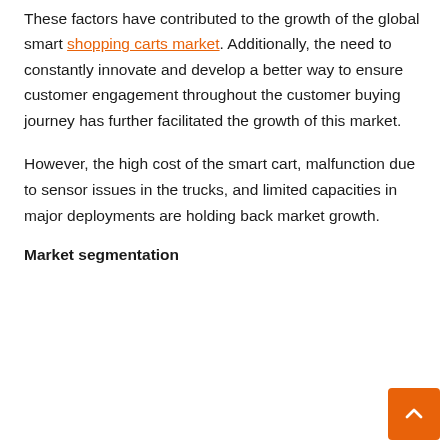various supermarkets.
These factors have contributed to the growth of the global smart shopping carts market. Additionally, the need to constantly innovate and develop a better way to ensure customer engagement throughout the customer buying journey has further facilitated the growth of this market.
However, the high cost of the smart cart, malfunction due to sensor issues in the trucks, and limited capacities in major deployments are holding back market growth.
Market segmentation